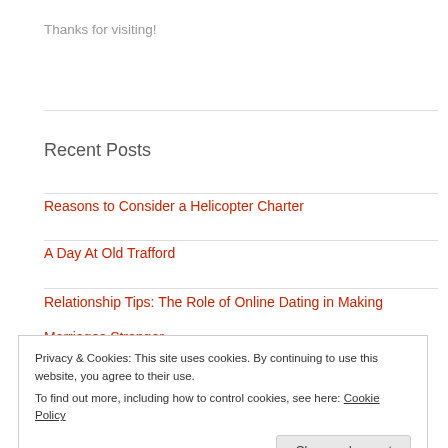Thanks for visiting!
Recent Posts
Reasons to Consider a Helicopter Charter
A Day At Old Trafford
Relationship Tips: The Role of Online Dating in Making
Marriages Stronger
Privacy & Cookies: This site uses cookies. By continuing to use this website, you agree to their use.
To find out more, including how to control cookies, see here: Cookie Policy
Close and accept